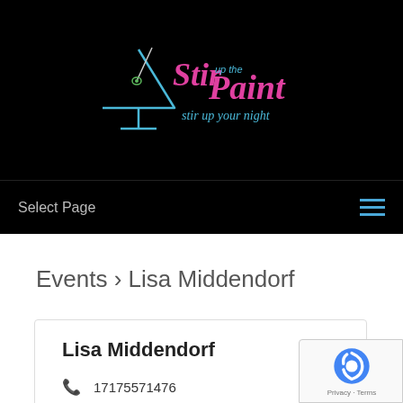[Figure (logo): Stir up the Paint logo with martini glass and neon-style text on black background]
Select Page
Events › Lisa Middendorf
Lisa Middendorf
17175571476
stirupthepaintnh@gmail.com